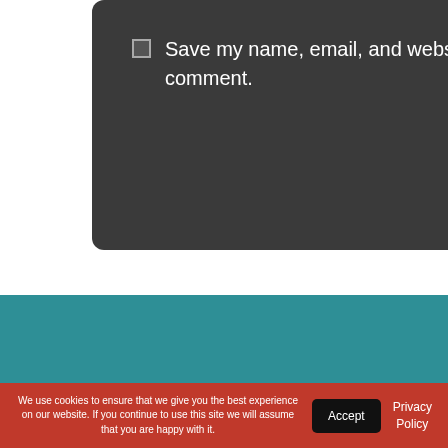Save my name, email, and website in this browser for the next time I comment.
SUBMIT COMMENT
We use cookies to ensure that we give you the best experience on our website. If you continue to use this site we will assume that you are happy with it.
Accept
Privacy Policy